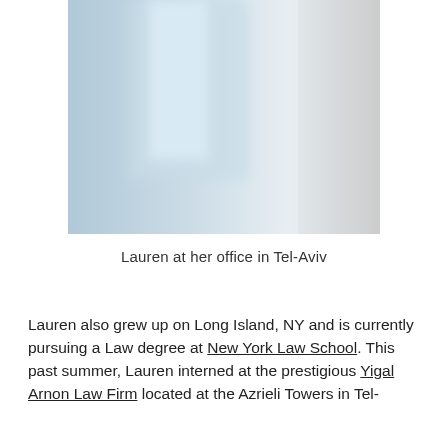[Figure (photo): Portrait photo of a woman named Lauren, standing in an office setting in Tel-Aviv, wearing a dark jacket, with blurred background of windows and walls.]
Lauren at her office in Tel-Aviv
Lauren also grew up on Long Island, NY and is currently pursuing a Law degree at New York Law School. This past summer, Lauren interned at the prestigious Yigal Arnon Law Firm located at the Azrieli Towers in Tel-